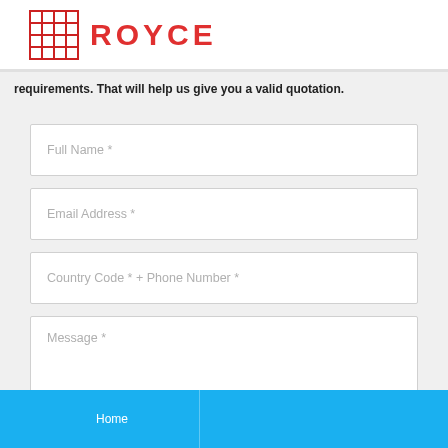ROYCE
requirements. That will help us give you a valid quotation.
Full Name *
Email Address *
Country Code * + Phone Number *
Message *
Home